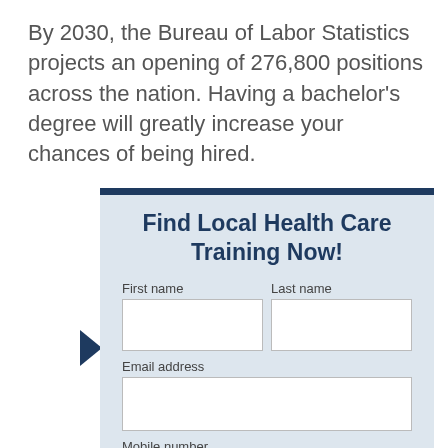By 2030, the Bureau of Labor Statistics projects an opening of 276,800 positions across the nation. Having a bachelor's degree will greatly increase your chances of being hired.
Find Local Health Care Training Now!
First name | Last name | Email address | Mobile number (form fields)